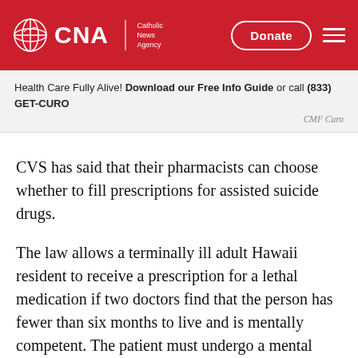[Figure (logo): CNA Catholic News Agency logo with globe icon on red background header bar with Donate button and hamburger menu]
Health Care Fully Alive! Download our Free Info Guide or call (833) GET-CURO
CMF Curo
CVS has said that their pharmacists can choose whether to fill prescriptions for assisted suicide drugs.
The law allows a terminally ill adult Hawaii resident to receive a prescription for a lethal medication if two doctors find that the person has fewer than six months to live and is mentally competent. The patient must undergo a mental health evaluation to determine that they are not